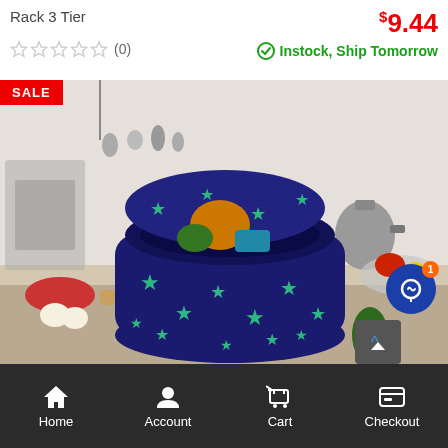Rack 3 Tier
$9.44
☆☆☆☆☆ (0)
Instock, Ship Tomorrow
[Figure (photo): A navy blue reusable bag with green stars pattern filled with vegetables and fruits, placed on a kitchen counter. Background shows kitchen utensils, a kettle, and a bowl of fresh vegetables. A red SALE badge is in the top-left corner of the image.]
Home   Account   Cart   Checkout